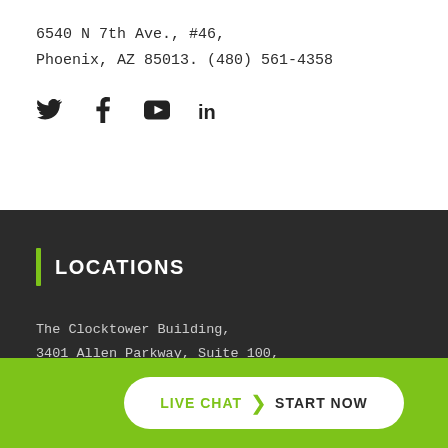6540 N 7th Ave., #46,
Phoenix, AZ 85013. (480) 561-4358
[Figure (infographic): Social media icons: Twitter (bird), Facebook (f), YouTube (rectangle play button), LinkedIn (in)]
LOCATIONS
The Clocktower Building,
3401 Allen Parkway, Suite 100,
Houston, TX 77019. (713) 571-1146
[Figure (infographic): Green bottom bar with a circular avatar photo of a man smiling and a white pill-shaped button reading LIVE CHAT > START NOW]